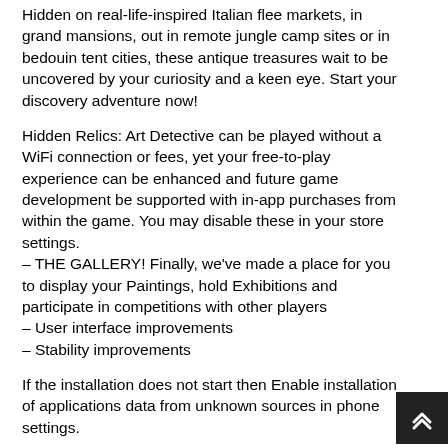Hidden on real-life-inspired Italian flee markets, in grand mansions, out in remote jungle camp sites or in bedouin tent cities, these antique treasures wait to be uncovered by your curiosity and a keen eye. Start your discovery adventure now!
Hidden Relics: Art Detective can be played without a WiFi connection or fees, yet your free-to-play experience can be enhanced and future game development be supported with in-app purchases from within the game. You may disable these in your store settings.
– THE GALLERY! Finally, we've made a place for you to display your Paintings, hold Exhibitions and participate in competitions with other players
– User interface improvements
– Stability improvements
If the installation does not start then Enable installation of applications data from unknown sources in phone settings.
apkdoll.com provides mod apks, obb data for android devices, best apps and games collection free of cost. You just need to visit revdlmod.com search for desire apps or game click on download button and enjoy.